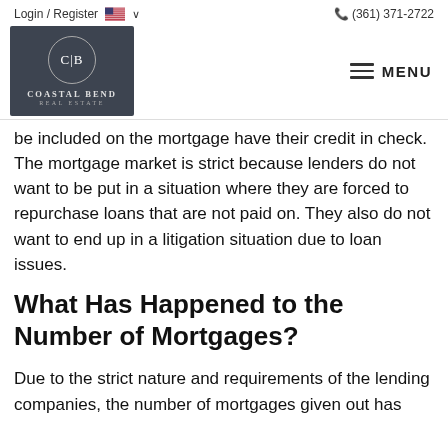Login / Register  (361) 371-2722
[Figure (logo): Coastal Bend Real Estate logo — dark gray square with circular emblem and text]
be included on the mortgage have their credit in check. The mortgage market is strict because lenders do not want to be put in a situation where they are forced to repurchase loans that are not paid on. They also do not want to end up in a litigation situation due to loan issues.
What Has Happened to the Number of Mortgages?
Due to the strict nature and requirements of the lending companies, the number of mortgages given out has